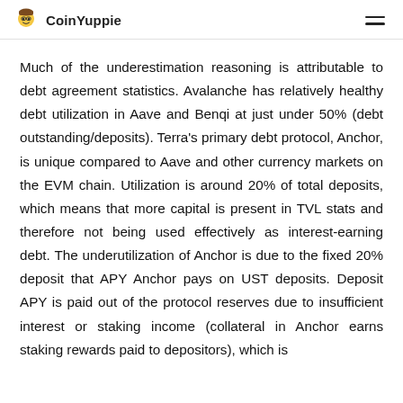CoinYuppie
Much of the underestimation reasoning is attributable to debt agreement statistics. Avalanche has relatively healthy debt utilization in Aave and Benqi at just under 50% (debt outstanding/deposits). Terra's primary debt protocol, Anchor, is unique compared to Aave and other currency markets on the EVM chain. Utilization is around 20% of total deposits, which means that more capital is present in TVL stats and therefore not being used effectively as interest-earning debt. The underutilization of Anchor is due to the fixed 20% deposit that APY Anchor pays on UST deposits. Deposit APY is paid out of the protocol reserves due to insufficient interest or staking income (collateral in Anchor earns staking rewards paid to depositors), which is